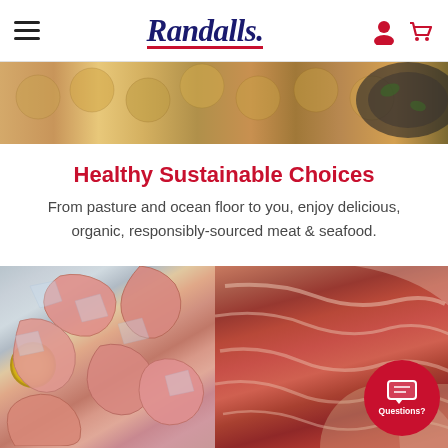Randalls
[Figure (photo): Top banner food photo showing golden-brown scallops or similar seafood on a plate and a dark skillet with vegetables]
Healthy Sustainable Choices
From pasture and ocean floor to you, enjoy delicious, organic, responsibly-sourced meat & seafood.
[Figure (photo): Large split photo: left side shows pink cooked shrimp on ice with a lemon slice, right side shows a raw marbled ribeye steak on a cutting board]